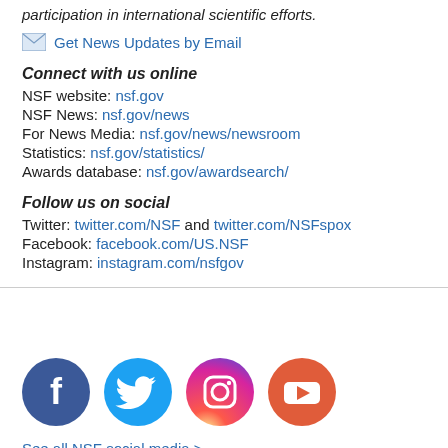participation in international scientific efforts.
Get News Updates by Email
Connect with us online
NSF website: nsf.gov
NSF News: nsf.gov/news
For News Media: nsf.gov/news/newsroom
Statistics: nsf.gov/statistics/
Awards database: nsf.gov/awardsearch/
Follow us on social
Twitter: twitter.com/NSF and twitter.com/NSFspox
Facebook: facebook.com/US.NSF
Instagram: instagram.com/nsfgov
[Figure (logo): Social media icons: Facebook (blue circle with f), Twitter (light blue circle with bird), Instagram (gradient circle with camera), YouTube (red-orange circle with play button)]
See all NSF social media